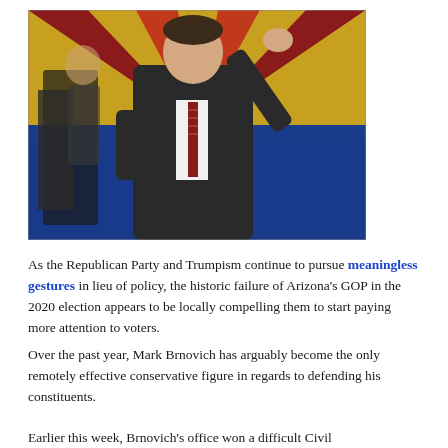[Figure (photo): A man in a dark suit with a striped red tie raising his right arm in a wave or greeting gesture, standing in front of an Arizona state flag backdrop with red, orange, and blue colors. Another person is visible in the background near a podium.]
As the Republican Party and Trumpism continue to pursue meaningless gestures in lieu of policy, the historic failure of Arizona's GOP in the 2020 election appears to be locally compelling them to start paying more attention to voters.
Over the past year, Mark Brnovich has arguably become the only remotely effective conservative figure in regards to defending his constituents.
Earlier this week, Brnovich's office won a difficult Civil